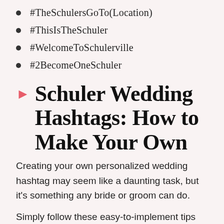#TheSchulersGoTo(Location)
#ThisIsTheSchuler
#WelcomeToSchulerville
#2BecomeOneSchuler
Schuler Wedding Hashtags: How to Make Your Own
Creating your own personalized wedding hashtag may seem like a daunting task, but it's something any bride or groom can do.
Simply follow these easy-to-implement tips and